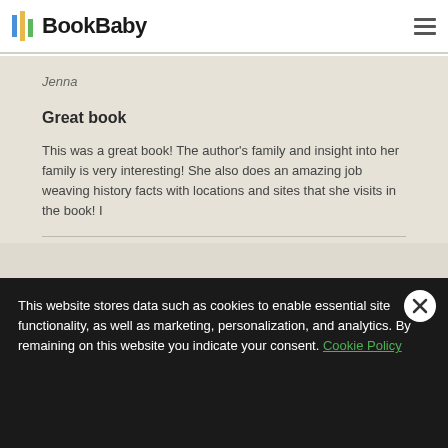BookBaby
Jenna
Great book
This was a great book! The author's family and insight into her family is very interesting! She also does an amazing job weaving history facts with locations and sites that she visits in the book! I
Read more
This website stores data such as cookies to enable essential site functionality, as well as marketing, personalization, and analytics. By remaining on this website you indicate your consent. Cookie Policy